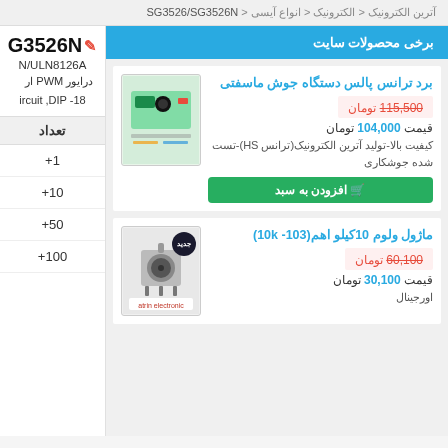آترین الکترونیک < الکترونیک < انواع آیسی < SG3526/SG3526N
G3526N
N/ULN8126A
درایور PWM ار
ircuit ,DIP -18
تعداد
+1
+10
+50
+100
برخی محصولات سایت
برد ترانس پالس دستگاه جوش ماسفتی
115,500 تومان (strikethrough)
قیمت 104,000 تومان
کیفیت بالا-تولید آترین الکترونیک(ترانس HS)-تست شده جوشکاری
افزودن به سبد
[Figure (photo): Electronic board product image]
ماژول ولوم 10کیلو اهم(103- 10k)
60,100 تومان (strikethrough)
قیمت 30,100 تومان
اورجینال
[Figure (photo): Potentiometer/volume module product image with 'جدید' badge and atrin electronic logo]